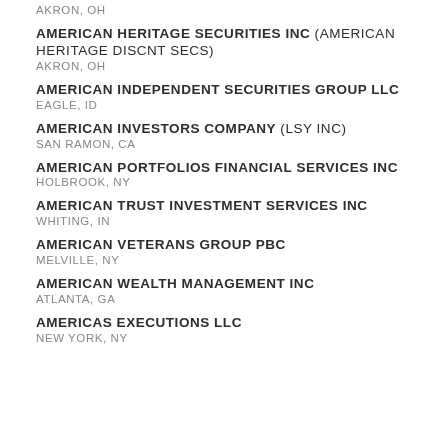AKRON, OH
AMERICAN HERITAGE SECURITIES INC (AMERICAN HERITAGE DISCNT SECS)
AKRON, OH
AMERICAN INDEPENDENT SECURITIES GROUP LLC
EAGLE, ID
AMERICAN INVESTORS COMPANY (LSY INC)
SAN RAMON, CA
AMERICAN PORTFOLIOS FINANCIAL SERVICES INC
HOLBROOK, NY
AMERICAN TRUST INVESTMENT SERVICES INC
WHITING, IN
AMERICAN VETERANS GROUP PBC
MELVILLE, NY
AMERICAN WEALTH MANAGEMENT INC
ATLANTA, GA
AMERICAS EXECUTIONS LLC
NEW YORK, NY